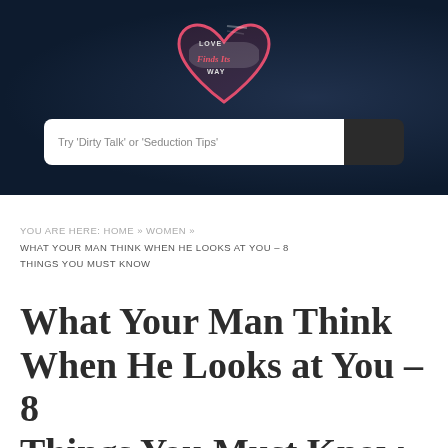[Figure (logo): Love Finds Its Way heart-shaped logo with script text]
Try 'Dirty Talk' or 'Seduction Tips'
YOU ARE HERE: HOME » WOMEN » WHAT YOUR MAN THINK WHEN HE LOOKS AT YOU – 8 THINGS YOU MUST KNOW
What Your Man Think When He Looks at You – 8 Things You Must Know